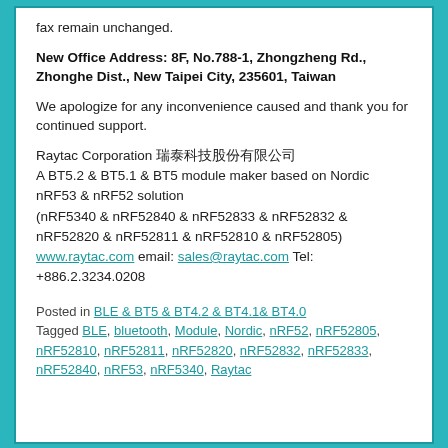fax remain unchanged.
New Office Address: 8F, No.788-1, Zhongzheng Rd., Zhonghe Dist., New Taipei City, 235601, Taiwan
We apologize for any inconvenience caused and thank you for continued support.
Raytac Corporation 瑞泰科技股份有限公司
A BT5.2 & BT5.1 & BT5 module maker based on Nordic nRF53 & nRF52 solution
(nRF5340 & nRF52840 & nRF52833 & nRF52832 & nRF52820 & nRF52811 & nRF52810 & nRF52805)
www.raytac.com email: sales@raytac.com Tel: +886.2.3234.0208
Posted in BLE & BT5 & BT4.2 & BT4.1& BT4.0
Tagged BLE, bluetooth, Module, Nordic, nRF52, nRF52805, nRF52810, nRF52811, nRF52820, nRF52832, nRF52833, nRF52840, nRF53, nRF5340, Raytac